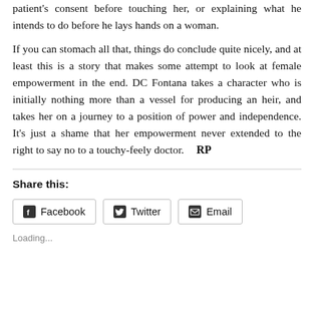patient's consent before touching her, or explaining what he intends to do before he lays hands on a woman.
If you can stomach all that, things do conclude quite nicely, and at least this is a story that makes some attempt to look at female empowerment in the end. DC Fontana takes a character who is initially nothing more than a vessel for producing an heir, and takes her on a journey to a position of power and independence. It's just a shame that her empowerment never extended to the right to say no to a touchy-feely doctor.  RP
Share this:
Facebook  Twitter  Email
Loading...